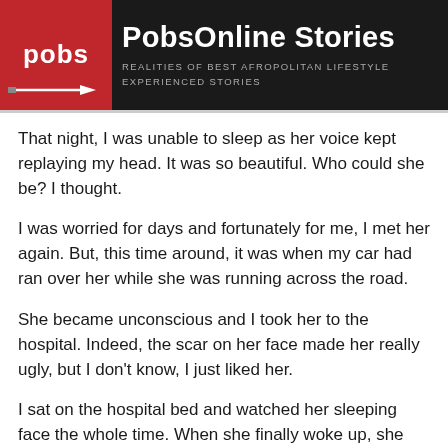PobsOnline Stories
Realities Of Best Afropolitan LifeStyle Experienced Stories
That night, I was unable to sleep as her voice kept replaying my head. It was so beautiful. Who could she be? I thought.
I was worried for days and fortunately for me, I met her again. But, this time around, it was when my car had ran over her while she was running across the road.
She became unconscious and I took her to the hospital. Indeed, the scar on her face made her really ugly, but I don't know, I just liked her.
I sat on the hospital bed and watched her sleeping face the whole time. When she finally woke up, she was scared and tried running away, but I stopped her. She was so scared.